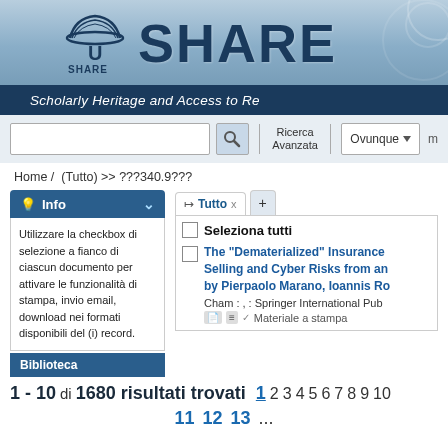[Figure (screenshot): SHARE-U library portal header with logo, large SHARE text, and subtitle 'Scholarly Heritage and Access to Re[sources]']
[Figure (screenshot): Search bar with text input, magnifying glass icon, Ricerca Avanzata link, and Ovunque dropdown]
Home / (Tutto) >> ???340.9???
Info - Utilizzare la checkbox di selezione a fianco di ciascun documento per attivare le funzionalità di stampa, invio email, download nei formati disponibili del (i) record.
Biblioteca
Tutto x +
Seleziona tutti
The "Dematerialized" Insurance Selling and Cyber Risks from an by Pierpaolo Marano, Ioannis Ro
Cham : , : Springer International Pub
Materiale a stampa
1 - 10 di 1680 risultati trovati   1 2 3 4 5 6 7 8 9 10
11 12 13 ...